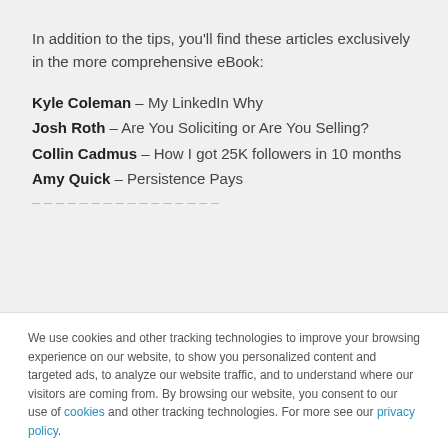In addition to the tips, you'll find these articles exclusively in the more comprehensive eBook:
Kyle Coleman – My LinkedIn Why
Josh Roth – Are You Soliciting or Are You Selling?
Collin Cadmus – How I got 25K followers in 10 months
Amy Quick – Persistence Pays
We use cookies and other tracking technologies to improve your browsing experience on our website, to show you personalized content and targeted ads, to analyze our website traffic, and to understand where our visitors are coming from. By browsing our website, you consent to our use of cookies and other tracking technologies. For more see our privacy policy.